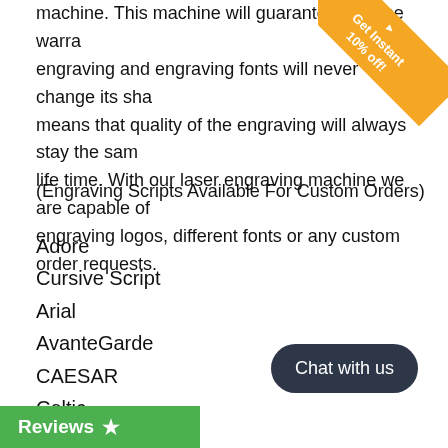machine. This machine will guarantee life time warranty engraving and engraving fonts will never change its shape means that quality of the engraving will always stay the same life time. With our laser engraving machine we are capable of engraving logos, different fonts or any custom order requests.
(Engraving Scripts Available For Custom Orders)
Adore
Cursive Script
Arial
AvanteGarde
CAESAR
Celtic
Christine
Clean
Cloister Black